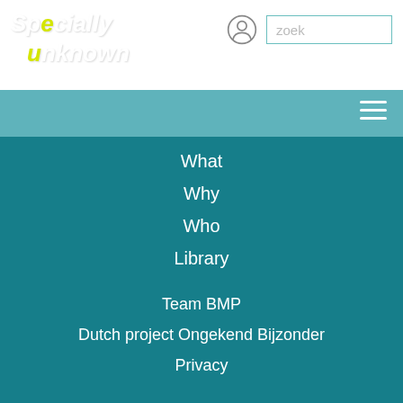[Figure (logo): Specially unknown logo in white italic script with yellow 'e' and 'u' highlights]
zoek
What
Why
Who
Library
Team BMP
Dutch project Ongekend Bijzonder
Privacy